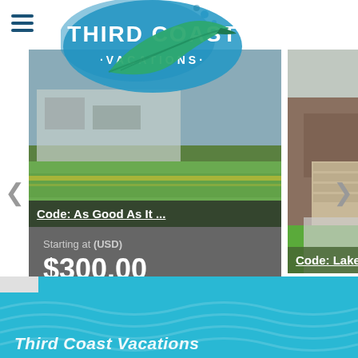[Figure (logo): Third Coast Vacations logo with blue brushstroke background and teal feather/wave graphic]
[Figure (screenshot): Vacation rental website carousel showing three property cards: 'Code: As Good As It...', 'Code: Macks Lake H...' (with price Starting at USD $300.00), and 'Code: Lakeside Famil...']
Code: As Good As It ...
Starting at (USD)
$300.00
Code: Macks Lake H...
Code: Lakeside Famil...
Third Coast Vacations